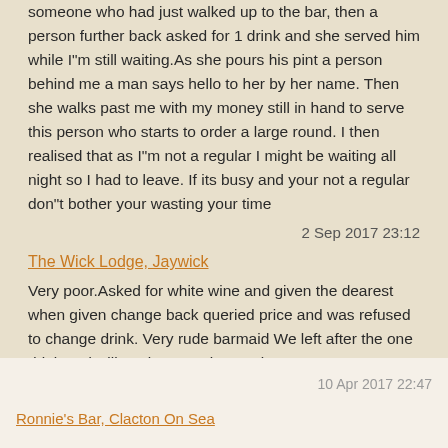someone who had just walked up to the bar, then a person further back asked for 1 drink and she served him while I"m still waiting.As she pours his pint a person behind me a man says hello to her by her name. Then she walks past me with my money still in hand to serve this person who starts to order a large round. I then realised that as I"m not a regular I might be waiting all night so I had to leave. If its busy and your not a regular don"t bother your wasting your time
2 Sep 2017 23:12
The Wick Lodge, Jaywick
Very poor.Asked for white wine and given the dearest when given change back queried price and was refused to change drink. Very rude barmaid We left after the one drink and will not be returning again.
10 Apr 2017 22:47
Ronnie's Bar, Clacton On Sea